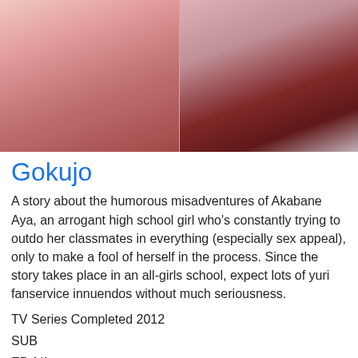[Figure (illustration): Anime illustration showing two female characters in school uniforms, cropped at top of page]
Gokujo
A story about the humorous misadventures of Akabane Aya, an arrogant high school girl who’s constantly trying to outdo her classmates in everything (especially sex appeal), only to make a fool of herself in the process. Since the story takes place in an all-girls school, expect lots of yuri fanservice innuendos without much seriousness.
TV Series Completed 2012
SUB
EP 1/1
Gokujo.: Souda Onsen ni Ikou! ►
Gokujo.: Souda Onsen ni Ikou!